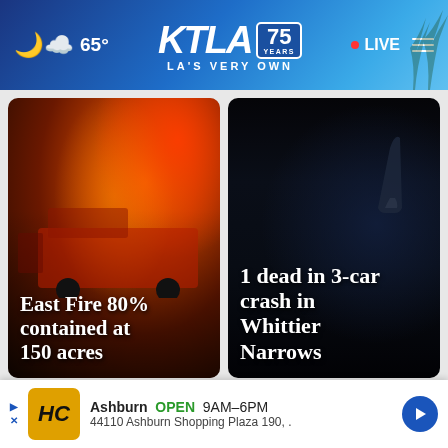KTLA 75 YEARS - LA'S VERY OWN | 65° | LIVE
[Figure (screenshot): Fire truck at night with red and orange lights flashing, news thumbnail for East Fire story]
East Fire 80% contained at 150 acres
[Figure (screenshot): Very dark nighttime scene, appears to show car crash aftermath in Whittier Narrows]
1 dead in 3-car crash in Whittier Narrows
[Figure (screenshot): Video thumbnail with play button showing partial outdoor scene]
[Figure (screenshot): Video thumbnail with play button showing outdoor scene with close button]
Ashburn OPEN 9AM-6PM
44110 Ashburn Shopping Plaza 190, .